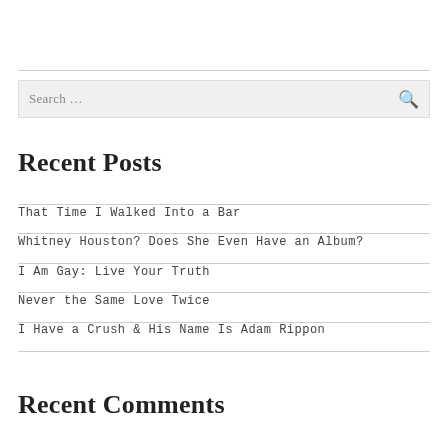Search …
Recent Posts
That Time I Walked Into a Bar
Whitney Houston? Does She Even Have an Album?
I Am Gay: Live Your Truth
Never the Same Love Twice
I Have a Crush & His Name Is Adam Rippon
Recent Comments